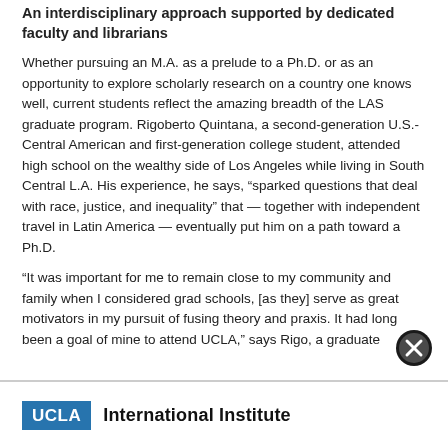An interdisciplinary approach supported by dedicated faculty and librarians
Whether pursuing an M.A. as a prelude to a Ph.D. or as an opportunity to explore scholarly research on a country one knows well, current students reflect the amazing breadth of the LAS graduate program. Rigoberto Quintana, a second-generation U.S.-Central American and first-generation college student, attended high school on the wealthy side of Los Angeles while living in South Central L.A. His experience, he says, “sparked questions that deal with race, justice, and inequality” that — together with independent travel in Latin America — eventually put him on a path toward a Ph.D.
“It was important for me to remain close to my community and family when I considered grad schools, [as they] serve as great motivators in my pursuit of fusing theory and praxis. It had long been a goal of mine to attend UCLA,” says Rigo, a graduate
UCLA International Institute